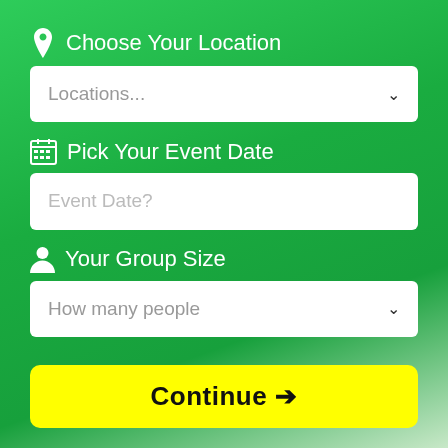Choose Your Location
Locations...
Pick Your Event Date
Event Date?
Your Group Size
How many people
Continue →